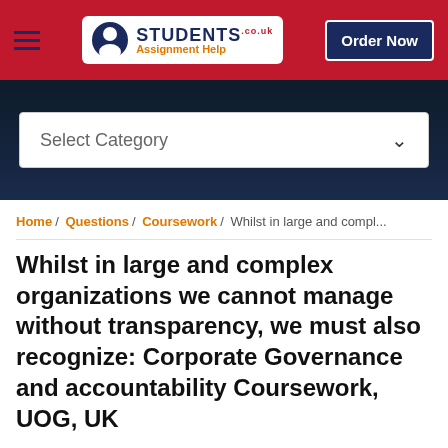[Figure (screenshot): Website header bar with hamburger menu, Students Assignment Help logo, and Order Now button on red background]
[Figure (screenshot): Dark navy banner with a 'Select Category' dropdown box]
Home / Questions / Coursework / Whilst in large and compl...
Whilst in large and complex organizations we cannot manage without transparency, we must also recognize: Corporate Governance and accountability Coursework, UOG, UK
Request Plagiarism Free Answer